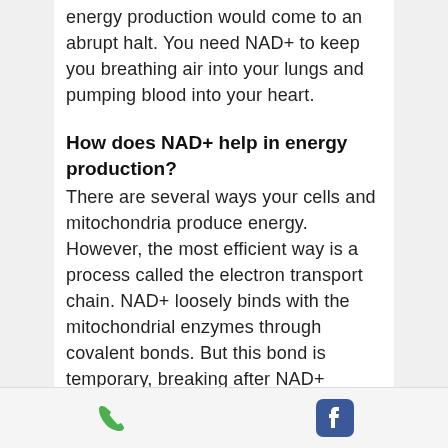energy production would come to an abrupt halt. You need NAD+ to keep you breathing air into your lungs and pumping blood into your heart.
How does NAD+ help in energy production?
There are several ways your cells and mitochondria produce energy. However, the most efficient way is a process called the electron transport chain. NAD+ loosely binds with the mitochondrial enzymes through covalent bonds. But this bond is temporary, breaking after NAD+ transfers electrons with the enzymes
phone and facebook icons